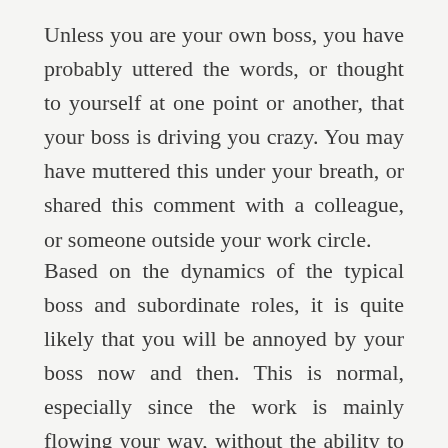Unless you are your own boss, you have probably uttered the words, or thought to yourself at one point or another, that your boss is driving you crazy. You may have muttered this under your breath, or shared this comment with a colleague, or someone outside your work circle.
Based on the dynamics of the typical boss and subordinate roles, it is quite likely that you will be annoyed by your boss now and then. This is normal, especially since the work is mainly flowing your way, without the ability to decline or limit the